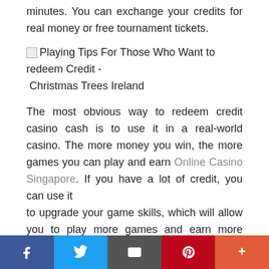minutes. You can exchange your credits for real money or free tournament tickets.
[Figure (illustration): Broken image placeholder with alt text: Playing Tips For Those Who Want to redeem Credit - Christmas Trees Ireland]
The most obvious way to redeem credit casino cash is to use it in a real-world casino. The more money you win, the more games you can play and earn Online Casino Singapore. If you have a lot of credit, you can use it to upgrade your game skills, which will allow you to play more games and earn more cash. Just make sure you read the terms and conditions carefully. By doing so, you will maximize your
[Figure (infographic): Social sharing bar with Facebook, Twitter, Email, Pinterest, and More buttons]